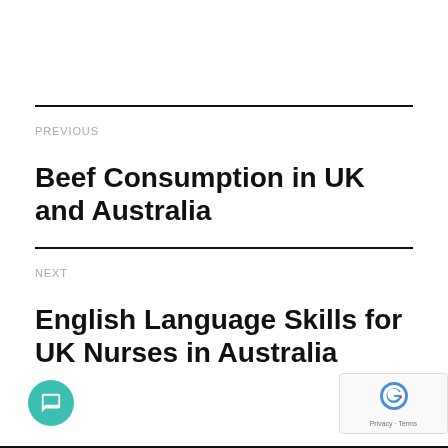PREVIOUS
Beef Consumption in UK and Australia
NEXT
English Language Skills for UK Nurses in Australia